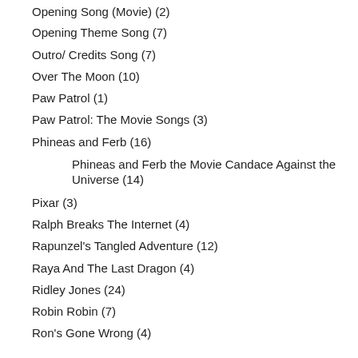Opening Song (Movie) (2)
Opening Theme Song (7)
Outro/ Credits Song (7)
Over The Moon (10)
Paw Patrol (1)
Paw Patrol: The Movie Songs (3)
Phineas and Ferb (16)
Phineas and Ferb the Movie Candace Against the Universe (14)
Pixar (3)
Ralph Breaks The Internet (4)
Rapunzel's Tangled Adventure (12)
Raya And The Last Dragon (4)
Ridley Jones (24)
Robin Robin (7)
Ron's Gone Wrong (4)